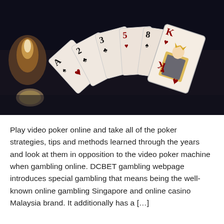[Figure (photo): A dark atmospheric photo of a fan of playing cards spread on a dark surface. Cards visible are Ace of spades/hearts, 2 of clubs, 3 of clubs, 5 of hearts, 8 of spades, and King of hearts. The King card is prominently shown on the right with gold and blue detail. A candle or light source is visible on the left side.]
Play video poker online and take all of the poker strategies, tips and methods learned through the years and look at them in opposition to the video poker machine when gambling online. DCBET gambling webpage introduces special gambling that means being the well-known online gambling Singapore and online casino Malaysia brand. It additionally has a […]